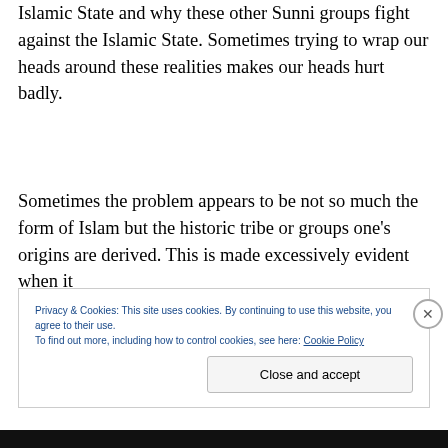Islamic State and why these other Sunni groups fight against the Islamic State. Sometimes trying to wrap our heads around these realities makes our heads hurt badly.
Sometimes the problem appears to be not so much the form of Islam but the historic tribe or groups one's origins are derived. This is made excessively evident when it
Privacy & Cookies: This site uses cookies. By continuing to use this website, you agree to their use.
To find out more, including how to control cookies, see here: Cookie Policy
Close and accept